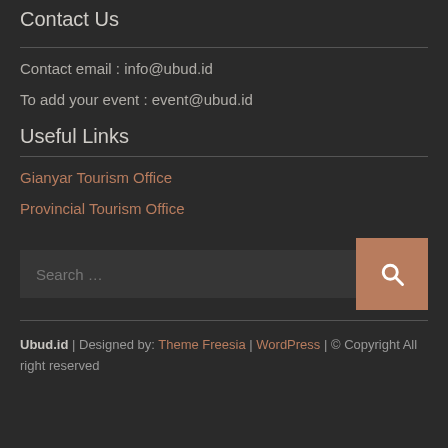Contact Us
Contact email : info@ubud.id
To add your event : event@ubud.id
Useful Links
Gianyar Tourism Office
Provincial Tourism Office
Ubud.id | Designed by: Theme Freesia | WordPress | © Copyright All right reserved